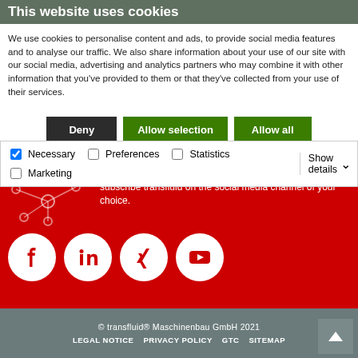This website uses cookies
We use cookies to personalise content and ads, to provide social media features and to analyse our traffic. We also share information about your use of our site with our social media, advertising and analytics partners who may combine it with other information that you've provided to them or that they've collected from your use of their services.
subscribe transfluid on the social media channel of your choice.
[Figure (illustration): Social media icons: Facebook, LinkedIn, Xing, YouTube in white circles on red background]
© transfluid® Maschinenbau GmbH 2021
LEGAL NOTICE  PRIVACY POLICY  GTC  SITEMAP